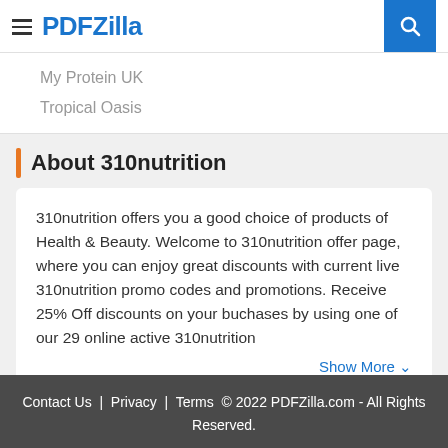PDFZilla
My Protein UK
Tropical Oasis
About 310nutrition
310nutrition offers you a good choice of products of Health & Beauty. Welcome to 310nutrition offer page, where you can enjoy great discounts with current live 310nutrition promo codes and promotions. Receive 25% Off discounts on your buchases by using one of our 29 online active 310nutrition
Show More
Contact Us  |  Privacy  |  Terms  © 2022 PDFZilla.com - All Rights Reserved.